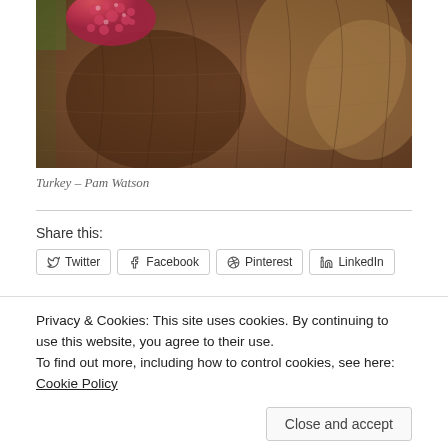[Figure (photo): Close-up photograph of a turkey showing its reddish-pink head/snood and brown feathers]
Turkey – Pam Watson
Share this:
Twitter Facebook Pinterest LinkedIn
Privacy & Cookies: This site uses cookies. By continuing to use this website, you agree to their use.
To find out more, including how to control cookies, see here:
Cookie Policy
Close and accept